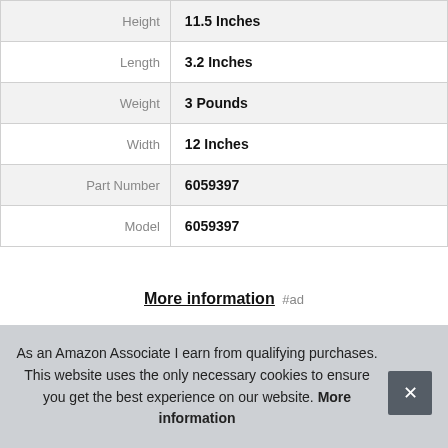| Attribute | Value |
| --- | --- |
| Height | 11.5 Inches |
| Length | 3.2 Inches |
| Weight | 3 Pounds |
| Width | 12 Inches |
| Part Number | 6059397 |
| Model | 6059397 |
More information #ad
Tags Creativity for Kids Kinetic Rock
NA
As an Amazon Associate I earn from qualifying purchases. This website uses the only necessary cookies to ensure you get the best experience on our website. More information